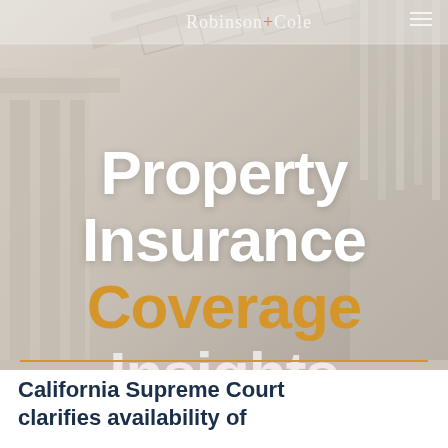Robinson+Cole
Property Insurance Coverage Insights
California Supreme Court clarifies availability of